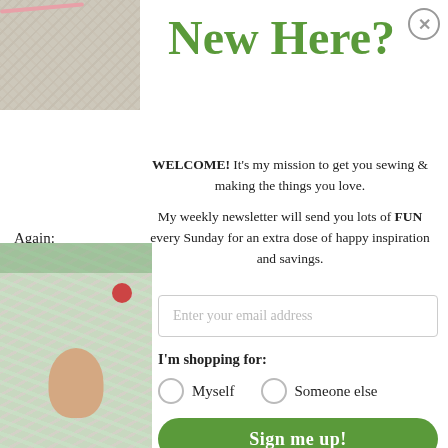[Figure (photo): Close-up photo of fabric/quilting material with a pink zipper, beige floral fabric visible]
New Here?
WELCOME! It's my mission to get you sewing & making the things you love.

My weekly newsletter will send you lots of FUN every Sunday for an extra dose of happy inspiration and savings.
Again:
[Figure (photo): Photo of colorful patterned fabric being held, showing floral and decorative prints in green, red, and blue]
Enter your email address
I'm shopping for:
Myself    Someone else
Sign me up!